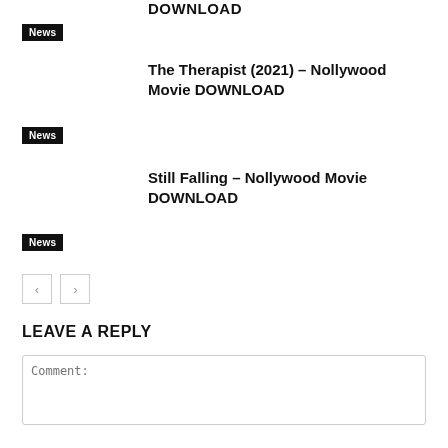News
The Therapist (2021) – Nollywood Movie DOWNLOAD
News
Still Falling – Nollywood Movie DOWNLOAD
News
LEAVE A REPLY
Comment: